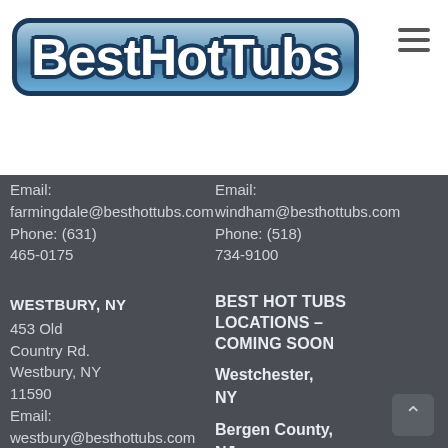[Figure (logo): Best Hot Tubs logo with blue gradient bubble letters and dark navy border on rounded rectangle]
Email: farmingdale@besthottubs.com
Phone: (631) 465-0175
Email: windham@besthottubs.com
Phone: (518) 734-9100
WESTBURY, NY
453 Old Country Rd.
Westbury, NY 11590
Email: westbury@besthottubs.com
Phone: (516) 279-4850
BEST HOT TUBS LOCATIONS – COMING SOON
Westchester, NY
Bergen County, NJ